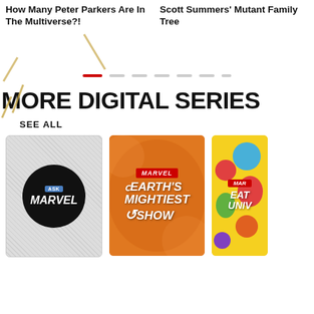How Many Peter Parkers Are In The Multiverse?!
Scott Summers' Mutant Family Tree
[Figure (other): Carousel navigation dots, one red active dot followed by six grey dots]
MORE DIGITAL SERIES
SEE ALL
[Figure (other): Ask Marvel show card: grey diagonal striped background with black circle containing 'ASK MARVEL' logo in white]
[Figure (other): Marvel Earth's Mightiest Show card: orange background with Marvel logo and 'Earth's Mightiest Show' text in white]
[Figure (other): Partially visible Marvel Eat the Universe card: yellow background with colorful food characters and Marvel logo]